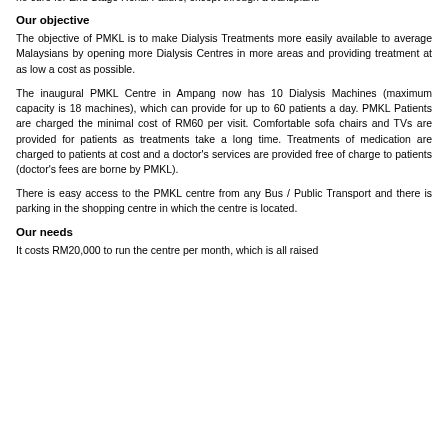no cure for End Stage Renal Failure, except through a transplant.
Our objective
The objective of PMKL is to make Dialysis Treatments more easily available to average Malaysians by opening more Dialysis Centres in more areas and providing treatment at as low a cost as possible.
The inaugural PMKL Centre in Ampang now has 10 Dialysis Machines (maximum capacity is 18 machines), which can provide for up to 60 patients a day. PMKL Patients are charged the minimal cost of RM60 per visit. Comfortable sofa chairs and TVs are provided for patients as treatments take a long time. Treatments of medication are charged to patients at cost and a doctor's services are provided free of charge to patients (doctor's fees are borne by PMKL).
There is easy access to the PMKL centre from any Bus / Public Transport and there is parking in the shopping centre in which the centre is located.
Our needs
It costs RM20,000 to run the centre per month, which is all raised